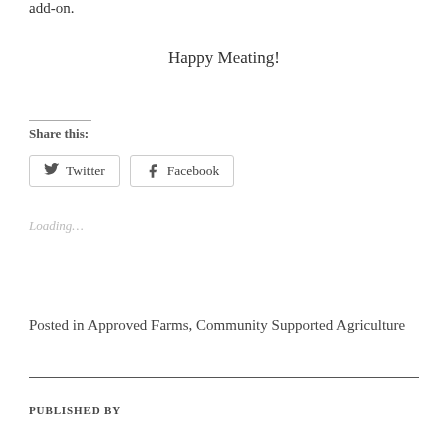add-on.
Happy Meating!
Share this:
Twitter
Facebook
Loading...
Posted in Approved Farms, Community Supported Agriculture
PUBLISHED BY